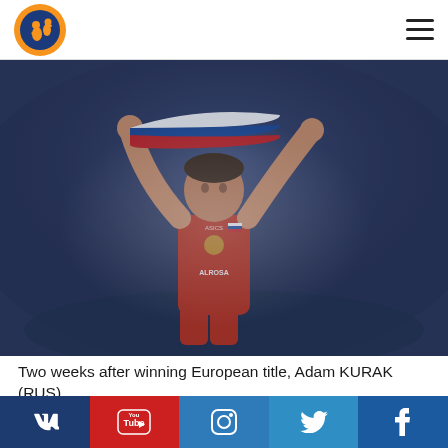[Figure (logo): UWW (United World Wrestling) orange circular logo with wrestler silhouette on blue background]
[Figure (photo): Russian wrestler Adam KURAK in red singlet celebrating victory, raising Russian flag overhead with both arms, blue arena background]
Two weeks after winning European title, Adam KURAK (RUS) repeated title in world military championships.
[Figure (infographic): Social media sharing bar with VK, YouTube, Instagram, Twitter, and Facebook buttons]